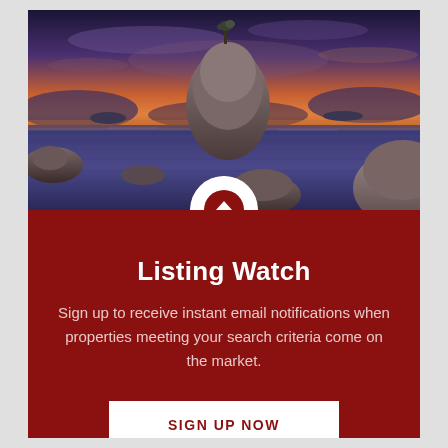[Figure (photo): Scenic lakeside landscape at sunset/dusk with large boulders emerging from calm blue-purple water, dramatic purple and orange sky with clouds, distant mountains and trees]
Listing Watch
Sign up to receive instant email notifications when properties meeting your search criteria come on the market.
SIGN UP NOW